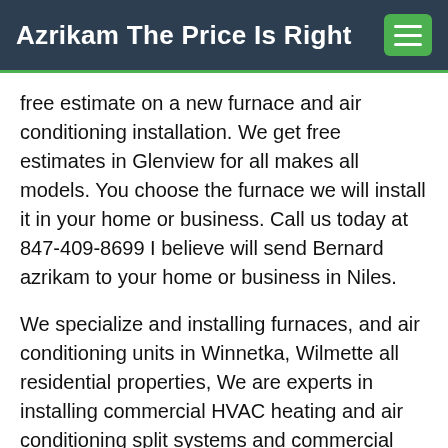Azrikam The Price Is Right
free estimate on a new furnace and air conditioning installation. We get free estimates in Glenview for all makes all models. You choose the furnace we will install it in your home or business. Call us today at 847-409-8699 I believe will send Bernard azrikam to your home or business in Niles.
We specialize and installing furnaces, and air conditioning units in Winnetka, Wilmette all residential properties, We are experts in installing commercial HVAC heating and air conditioning split systems and commercial rooftop package systems.
We install commercial package systems in Chicago, Illinois from 3 ton up to 25 tons of